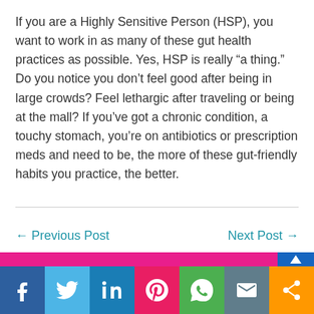If you are a Highly Sensitive Person (HSP), you want to work in as many of these gut health practices as possible. Yes, HSP is really “a thing.” Do you notice you don’t feel good after being in large crowds? Feel lethargic after traveling or being at the mall? If you’ve got a chronic condition, a touchy stomach, you’re on antibiotics or prescription meds and need to be, the more of these gut-friendly habits you practice, the better.
← Previous Post
Next Post →
[Figure (infographic): Social media sharing bar with icons for Facebook, Twitter, LinkedIn, Pinterest, WhatsApp, Email, and Share. Pink strip at top, scroll-to-top button on upper right.]